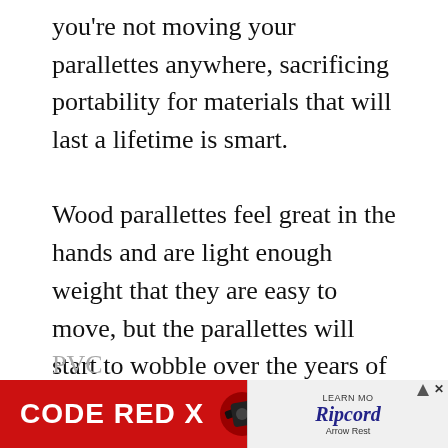you're not moving your parallettes anywhere, sacrificing portability for materials that will last a lifetime is smart.

Wood parallettes feel great in the hands and are light enough weight that they are easy to move, but the parallettes will start to wobble over the years of use. They will need to be repaired or replaced – the great feel and performance of wood parallettes are balanced by wood being the least durable material compared with metal and PVC.
[Figure (other): Advertisement banner: CODE RED X with Ripcord Arrow Rest branding on red background]
PVC